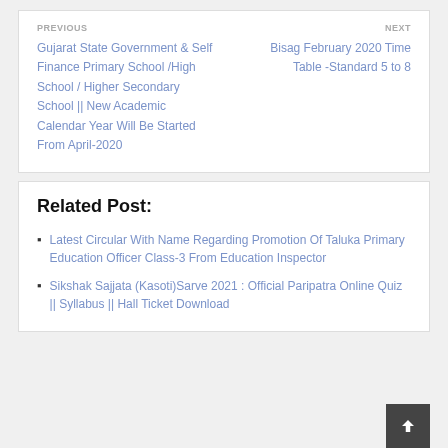PREVIOUS
Gujarat State Government & Self Finance Primary School /High School / Higher Secondary School || New Academic Calendar Year Will Be Started From April-2020
NEXT
Bisag February 2020 Time Table -Standard 5 to 8
Related Post:
Latest Circular With Name Regarding Promotion Of Taluka Primary Education Officer Class-3 From Education Inspector
Sikshak Sajjata (Kasoti)Sarve 2021 : Official Paripatra Online Quiz || Syllabus || Hall Ticket Download